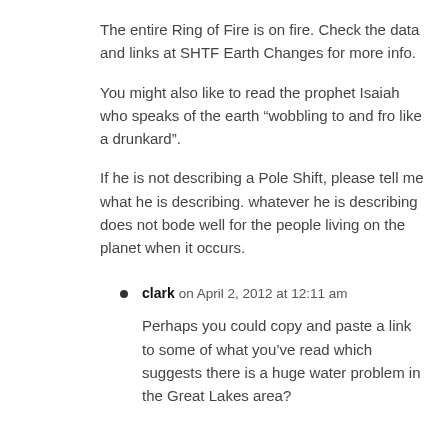The entire Ring of Fire is on fire. Check the data and links at SHTF Earth Changes for more info.
You might also like to read the prophet Isaiah who speaks of the earth “wobbling to and fro like a drunkard”.
If he is not describing a Pole Shift, please tell me what he is describing. whatever he is describing does not bode well for the people living on the planet when it occurs.
clark on April 2, 2012 at 12:11 am
Perhaps you could copy and paste a link to some of what you’ve read which suggests there is a huge water problem in the Great Lakes area?